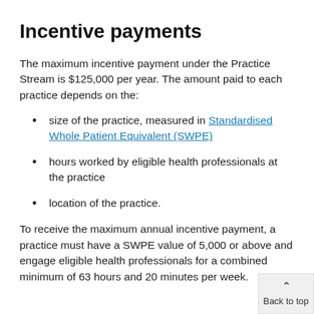Incentive payments
The maximum incentive payment under the Practice Stream is $125,000 per year. The amount paid to each practice depends on the:
size of the practice, measured in Standardised Whole Patient Equivalent (SWPE)
hours worked by eligible health professionals at the practice
location of the practice.
To receive the maximum annual incentive payment, a practice must have a SWPE value of 5,000 or above and engage eligible health professionals for a combined minimum of 63 hours and 20 minutes per week.